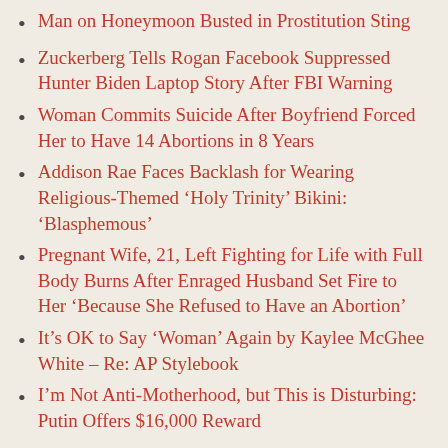Man on Honeymoon Busted in Prostitution Sting
Zuckerberg Tells Rogan Facebook Suppressed Hunter Biden Laptop Story After FBI Warning
Woman Commits Suicide After Boyfriend Forced Her to Have 14 Abortions in 8 Years
Addison Rae Faces Backlash for Wearing Religious-Themed ‘Holy Trinity’ Bikini: ‘Blasphemous’
Pregnant Wife, 21, Left Fighting for Life with Full Body Burns After Enraged Husband Set Fire to Her ‘Because She Refused to Have an Abortion’
It’s OK to Say ‘Woman’ Again by Kaylee McGhee White – Re: AP Stylebook
I’m Not Anti-Motherhood, but This is Disturbing: Putin Offers $16,000 Reward